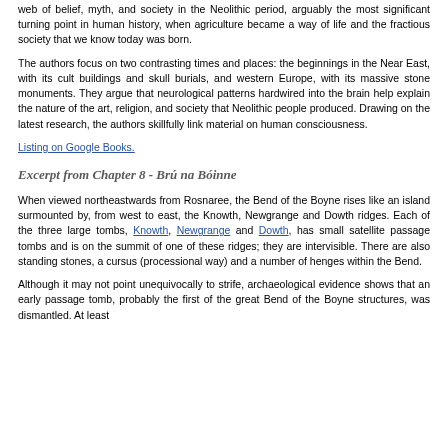web of belief, myth, and society in the Neolithic period, arguably the most significant turning point in human history, when agriculture became a way of life and the fractious society that we know today was born.
The authors focus on two contrasting times and places: the beginnings in the Near East, with its cult buildings and skull burials, and western Europe, with its massive stone monuments. They argue that neurological patterns hardwired into the brain help explain the nature of the art, religion, and society that Neolithic people produced. Drawing on the latest research, the authors skillfully link material on human consciousness.
Listing on Google Books.
Excerpt from Chapter 8 - Brú na Bóinne
When viewed northeastwards from Rosnaree, the Bend of the Boyne rises like an island surmounted by, from west to east, the Knowth, Newgrange and Dowth ridges. Each of the three large tombs, Knowth, Newgrange and Dowth, has small satellite passage tombs and is on the summit of one of these ridges; they are intervisible. There are also standing stones, a cursus (processional way) and a number of henges within the Bend.
Although it may not point unequivocally to strife, archaeological evidence shows that an early passage tomb, probably the first of the great Bend of the Boyne structures, was dismantled. At least